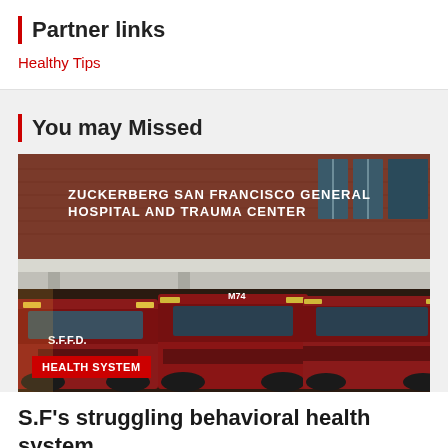Partner links
Healthy Tips
You may Missed
[Figure (photo): Exterior photo of Zuckerberg San Francisco General Hospital and Trauma Center with multiple red ambulances parked in front. A red badge reading 'HEALTH SYSTEM' is overlaid at the bottom left.]
S.F's struggling behavioral health system